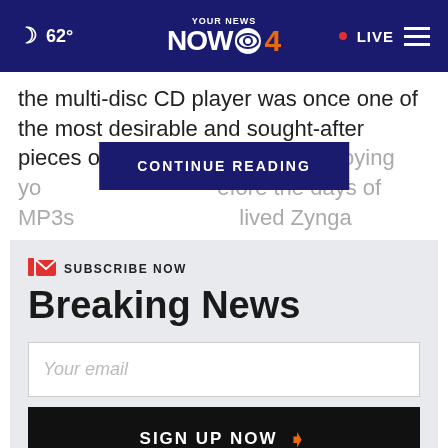62° YOUR NEWS NOW CBS 4 • LIVE
the multi-disc CD player was once one of the most desirable and sought-after pieces of audio equipment for enjoying yo...efore the days of MP3s...lived Zynga
CONTINUE READING
SUBSCRIBE NOW
Breaking News
Your email
SIGN UP NOW